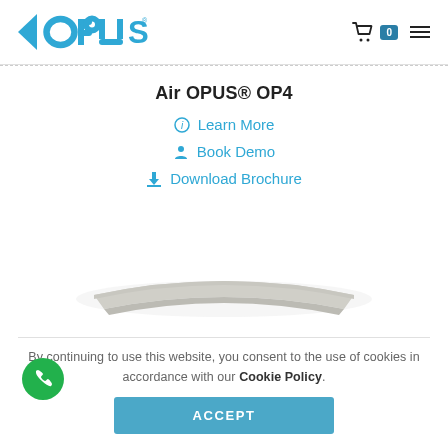OPUS logo | cart 0 | menu
Air OPUS® OP4
Learn More
Book Demo
Download Brochure
[Figure (photo): Product image of Air OPUS OP4 - a flat rectangular device shown in perspective]
By continuing to use this website, you consent to the use of cookies in accordance with our Cookie Policy.
ACCEPT